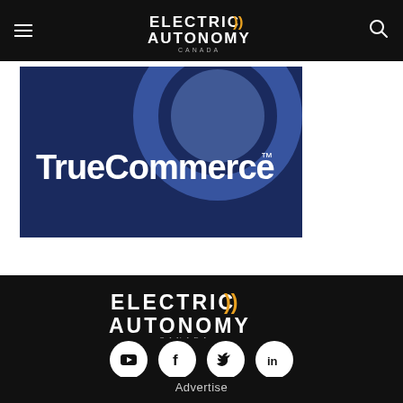Electric Autonomy Canada - navigation bar with logo, hamburger menu, and search icon
[Figure (logo): TrueCommerce logo on dark blue background with circular design element]
[Figure (logo): Electric Autonomy Canada logo in white on black background]
[Figure (infographic): Social media icons: YouTube, Facebook, Twitter, LinkedIn - white circles on black background]
Advertise